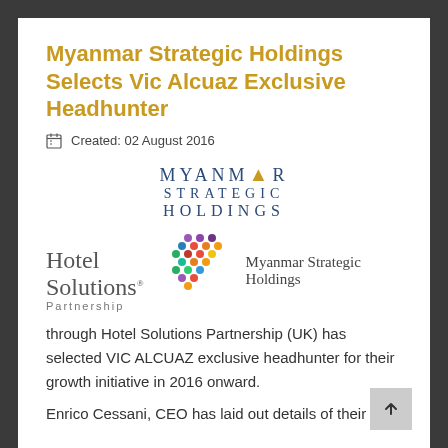Myanmar Strategic Holdings Selects Vic Alcuaz Exclusive Headhunter
Created: 02 August 2016
[Figure (logo): Myanmar Strategic Holdings logo with blue spaced lettering across three lines: MYANMAR STRATEGIC HOLDINGS, with a gold triangle accent replacing the A in MYANMAR]
[Figure (logo): Hotel Solutions Partnership logo with colorful dot pattern and Myanmar Strategic Holdings caption text]
through Hotel Solutions Partnership (UK) has selected VIC ALCUAZ exclusive headhunter for their growth initiative in 2016 onward.
Enrico Cessani, CEO has laid out details of their